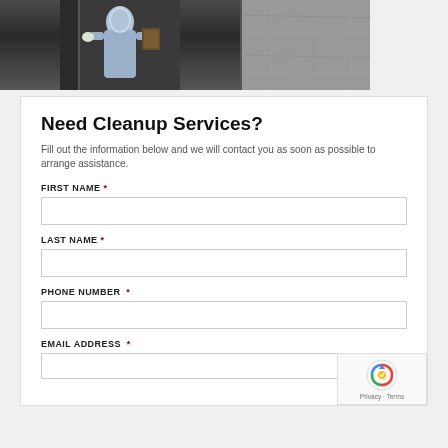[Figure (photo): Person in blue protective hazmat suit holding a clipboard/folder, standing in front of a dark background. A grey textured wall is visible on the right side.]
Need Cleanup Services?
Fill out the information below and we will contact you as soon as possible to arrange assistance.
FIRST NAME *
LAST NAME *
PHONE NUMBER  *
EMAIL ADDRESS  *